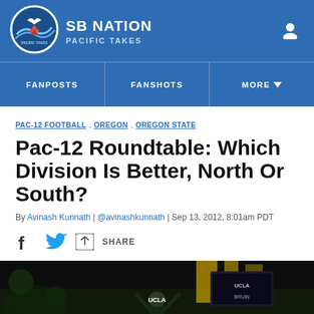SB NATION — PACIFIC TAKES
FANPOSTS | FANSHOTS | MORE
PAC-12 FOOTBALL  OREGON  OREGON STATE
Pac-12 Roundtable: Which Division Is Better, North Or South?
By Avinash Kunnath | @avinashkunnath | Sep 13, 2012, 8:01am PDT
SHARE
[Figure (photo): Night game photo showing a UCLA player celebrating with crowd and scoreboard in background]